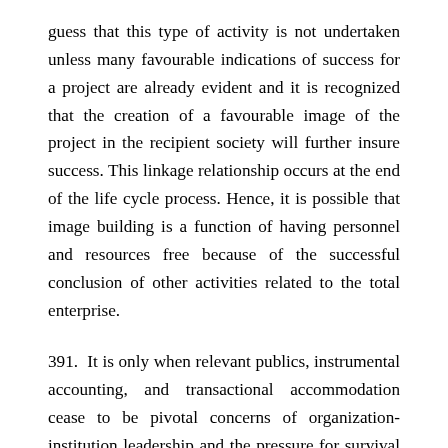guess that this type of activity is not undertaken unless many favourable indications of success for a project are already evident and it is recognized that the creation of a favourable image of the project in the recipient society will further insure success. This linkage relationship occurs at the end of the life cycle process. Hence, it is possible that image building is a function of having personnel and resources free because of the successful conclusion of other activities related to the total enterprise.
391. It is only when relevant publics, instrumental accounting, and transactional accommodation cease to be pivotal concerns of organization- institution leadership and the pressure for survival ceases to be the preponderant factor in decision-making that the essence of Esman's approach to institution building becomes relevant as an operational model. For it is then that one meaningfully speaks of intrinsic valuation of the institution. If the society